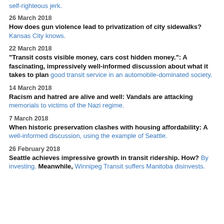self-righteous jerk.
26 March 2018
How does gun violence lead to privatization of city sidewalks? Kansas City knows.
22 March 2018
"Transit costs visible money, cars cost hidden money.": A fascinating, impressively well-informed discussion about what it takes to plan good transit service in an automobile-dominated society.
14 March 2018
Racism and hatred are alive and well: Vandals are attacking memorials to victims of the Nazi regime.
7 March 2018
When historic preservation clashes with housing affordability: A well-informed discussion, using the example of Seattle.
26 February 2018
Seattle achieves impressive growth in transit ridership. How? By investing. Meanwhile, Winnipeg Transit suffers Manitoba disinvests.